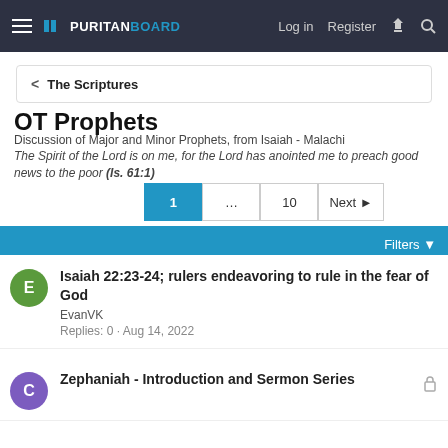Puritan Board — Log in  Register
< The Scriptures
OT Prophets
Discussion of Major and Minor Prophets, from Isaiah - Malachi
The Spirit of the Lord is on me, for the Lord has anointed me to preach good news to the poor (Is. 61:1)
1 … 10 Next ▶
Filters ▼
Isaiah 22:23-24; rulers endeavoring to rule in the fear of God
EvanVK
Replies: 0 · Aug 14, 2022
Zephaniah - Introduction and Sermon Series